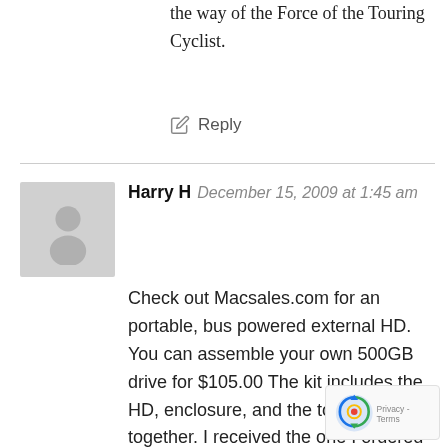the way of the Force of the Touring Cyclist.
Reply
Harry H  December 15, 2009 at 1:45 am
Check out Macsales.com for an portable, bus powered external HD. You can assemble your own 500GB drive for $105.00 The kit includes the HD, enclosure, and the tools to put it together. I received the one I ordered today and it was a snap to put